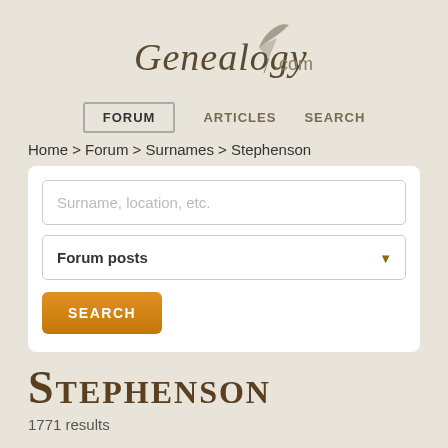Genealogy.com
FORUM   ARTICLES   SEARCH
Home > Forum > Surnames > Stephenson
[Figure (screenshot): Search form with text input 'Surname, location, etc.', a dropdown selector for 'Forum posts', and an orange SEARCH button]
Stephenson
1771 results